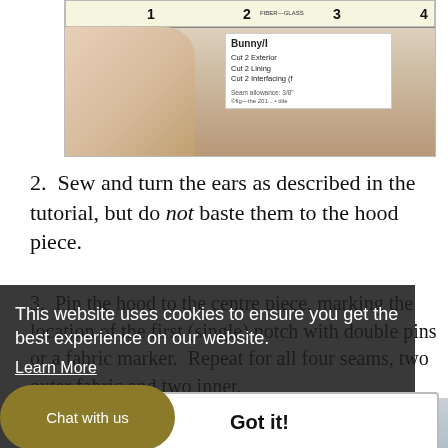[Figure (photo): A hand holding pattern pieces under a ruler, with a paper pattern piece labeled 'Bunny/I' showing instructions to cut 2 exterior, cut 2 lining, cut 2 interfacing]
2.  Sew and turn the ears as described in the tutorial, but do not baste them to the hood piece.
3.  Pin the hood to the centre piece, marking the location of the first (single) notch with double pins or a fabric marker.  Repeat for all four seams, two outer fabric and two inner.
This website uses cookies to ensure you get the best experience on our website.
Learn More
Got it!
Chat with us
[Figure (photo): Partial view of a sewing/craft tutorial image at the bottom of the page]